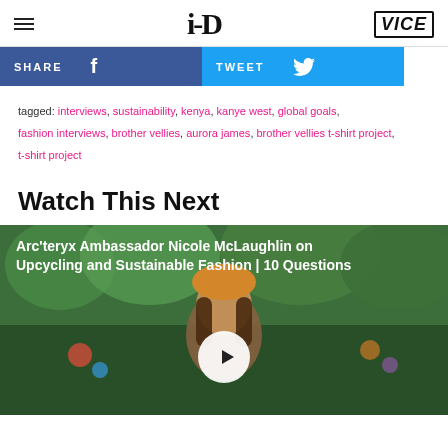i-D | VICE
SHARE   TWEET
tagged: interviews, sustainability, kenya, kanye west, global goals, fashion interviews, brother vellies, aurora james, brother vellies t-shirt project, t-shirt project
Watch This Next
[Figure (screenshot): Video thumbnail for 'Arc'teryx Ambassador Nicole McLaughlin on Upcycling and Sustainable Fashion | 10 Questions' showing a smiling woman with a play button overlay]
Arc'teryx Ambassador Nicole McLaughlin on Upcycling and Sustainable Fashion | 10 Questions